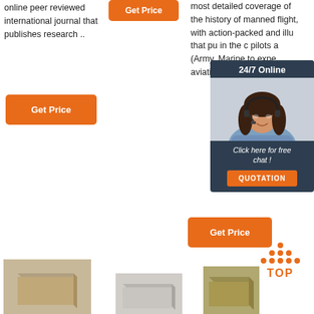online peer reviewed international journal that publishes research ..
Get Price
Get Price
most detailed coverage of the history of manned flight, with action-packed and illu that pu in the c pilots a (Army, Marine to expe aviatio drama...
[Figure (photo): Chat overlay widget with customer service representative, '24/7 Online' header, 'Click here for free chat!' text, and QUOTATION button]
Get Price
[Figure (other): Back to top button with orange dots and TOP text]
[Figure (photo): Brown block/cube product image on left]
[Figure (photo): Gray block product image in center]
[Figure (photo): Tan/khaki block product image on right]